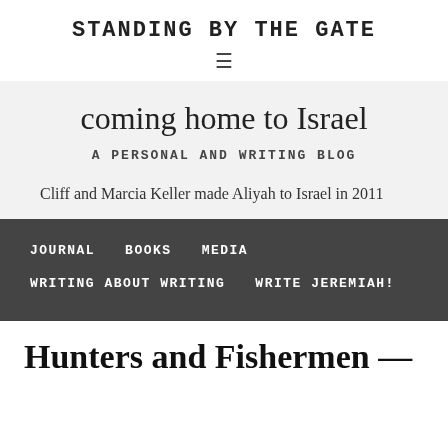STANDING BY THE GATE
coming home to Israel
A PERSONAL AND WRITING BLOG
Cliff and Marcia Keller made Aliyah to Israel in 2011
JOURNAL
BOOKS
MEDIA
WRITING ABOUT WRITING
WRITE JEREMIAH!
Hunters and Fishermen —